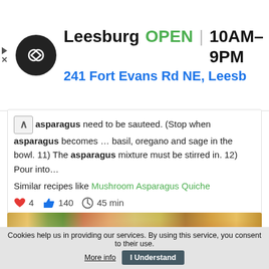[Figure (screenshot): Ad banner for a store in Leesburg showing logo, OPEN status, hours 10AM-9PM, address 241 Fort Evans Rd NE, Leesb, and navigation icon]
asparagus need to be sauteed. (Stop when asparagus becomes … basil, oregano and sage in the bowl. 11) The asparagus mixture must be stirred in. 12) Pour into…
Similar recipes like Mushroom Asparagus Quiche
♥ 4   👍 140   ⏰ 45 min
[Figure (photo): Close-up photo of a mushroom asparagus quiche with melted cheese, green asparagus pieces, mushrooms, and golden pastry crust]
Cookies help us in providing our services. By using this service, you consent to their use. More info   I Understand